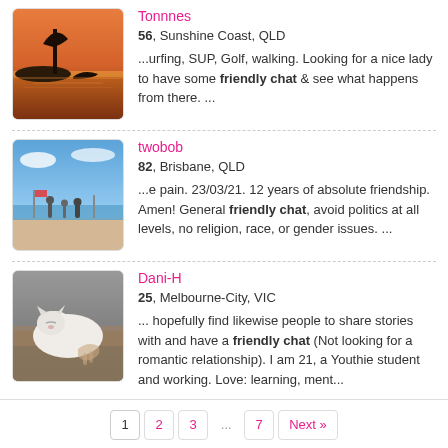[Figure (photo): Sunset landscape photo with silhouetted tree and water]
Tonnnes
56, Sunshine Coast, QLD
...urfing, SUP, Golf, walking. Looking for a nice lady to have some friendly chat & see what happens from there. ...
[Figure (photo): Beach scene with people and blue sky]
twobob
82, Brisbane, QLD
...e pain. 23/03/21. 12 years of absolute friendship. Amen! General friendly chat, avoid politics at all levels, no religion, race, or gender issues. ...
[Figure (photo): Close-up photo of a sleeping white cat or small animal]
Dani-H
25, Melbourne-City, VIC
... hopefully find likewise people to share stories with and have a friendly chat (Not looking for a romantic relationship). I am 21, a Youthie student and working. Love: learning, ment...
1  2  3  ...  7  Next »